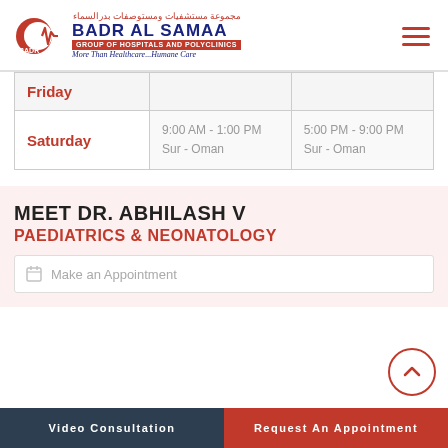[Figure (logo): Badr Al Samaa Group of Hospitals and Polyclinics logo with Arabic text and tagline 'More Than Healthcare...Humane Care']
| Day | Morning | Evening |
| --- | --- | --- |
| Friday |  |  |
| Saturday | 9:00 AM - 1:00 PM
Sur - Oman | 5:00 PM - 9:00 PM
Sur - Oman |
MEET DR. ABHILASH V
PAEDIATRICS & NEONATOLOGY
Make an Appointment
Video Consultation   Request An Appointment